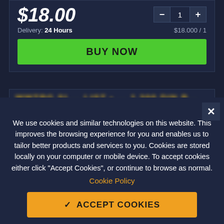$18.00
Delivery: 24 Hours
$18.000 / 1
BUY NOW
We use cookies and similar technologies on this website. This improves the browsing experience for you and enables us to tailor better products and services to you. Cookies are stored locally on your computer or mobile device. To accept cookies either click "Accept Cookies", or continue to browse as normal.
Cookie Policy
ACCEPT COOKIES
Cookie Settings and Details